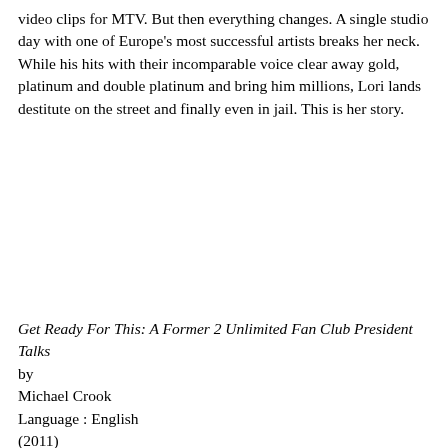video clips for MTV. But then everything changes. A single studio day with one of Europe's most successful artists breaks her neck. While his hits with their incomparable voice clear away gold, platinum and double platinum and bring him millions, Lori lands destitute on the street and finally even in jail. This is her story.
Get Ready For This: A Former 2 Unlimited Fan Club President Talks
by
Michael Crook
Language : English
(2011)